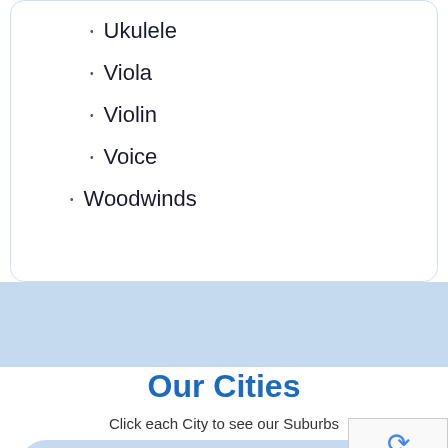Ukulele
Viola
Violin
Voice
Woodwinds
Our Cities
Click each City to see our Suburbs
Atlanta